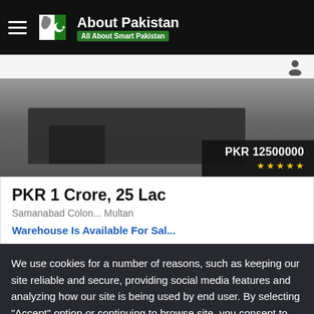About Pakistan — All About Smart Pakistan
[Figure (photo): Property listing image with dark silhouette showing a building/warehouse, with a price badge showing PKR 12500000 and five star rating]
PKR 1 Crore, 25 Lac
Samanabad Colon... Multan
Warehouse Is Available For Sal...
We use cookies for a number of reasons, such as keeping our site reliable and secure, providing social media features and analyzing how our site is being used by end user. By selecting "Accept" option or continuing to browse site, you consent to the usage of these cookies on your device.